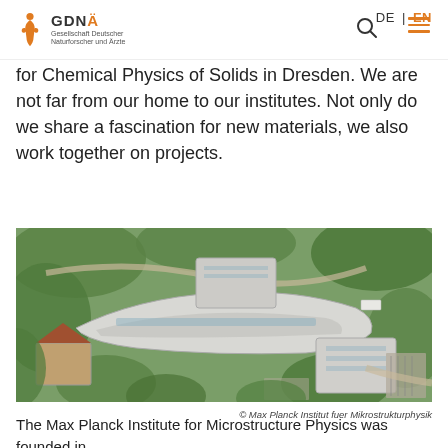GDNÄ Gesellschaft Deutscher Naturforscher und Ärzte | DE | EN
for Chemical Physics of Solids in Dresden. We are not far from our home to our institutes. Not only do we share a fascination for new materials, we also work together on projects.
[Figure (photo): Aerial photograph of the Max Planck Institute for Microstructure Physics campus, showing a large curved modernist building surrounded by trees, with parking areas and additional buildings visible.]
© Max Planck Institut fuer Mikrostrukturphysik
The Max Planck Institute for Microstructure Physics was founded in